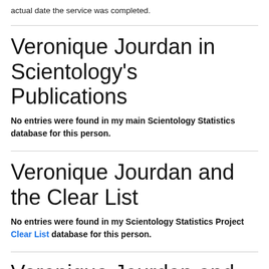actual date the service was completed.
Veronique Jourdan in Scientology's Publications
No entries were found in my main Scientology Statistics database for this person.
Veronique Jourdan and the Clear List
No entries were found in my Scientology Statistics Project Clear List database for this person.
Veronique Jourdan and Scientologist Online Sites